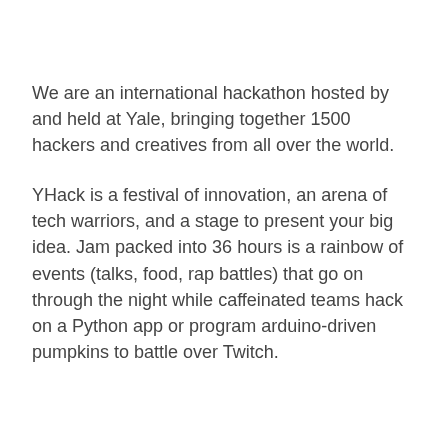We are an international hackathon hosted by and held at Yale, bringing together 1500 hackers and creatives from all over the world.
YHack is a festival of innovation, an arena of tech warriors, and a stage to present your big idea. Jam packed into 36 hours is a rainbow of events (talks, food, rap battles) that go on through the night while caffeinated teams hack on a Python app or program arduino-driven pumpkins to battle over Twitch.